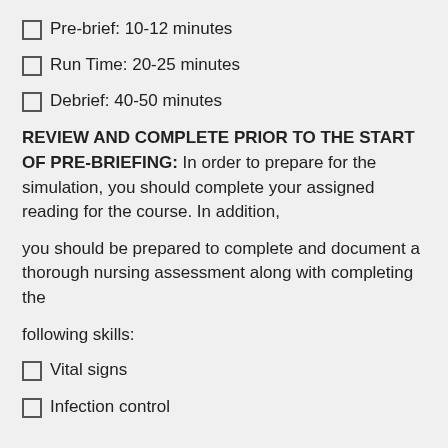Pre-brief: 10-12 minutes
Run Time: 20-25 minutes
Debrief: 40-50 minutes
REVIEW AND COMPLETE PRIOR TO THE START OF PRE-BRIEFING: In order to prepare for the simulation, you should complete your assigned reading for the course. In addition,
you should be prepared to complete and document a thorough nursing assessment along with completing the
following skills:
Vital signs
Infection control